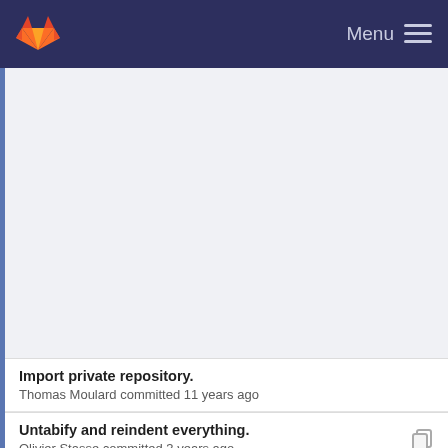[Figure (screenshot): GitLab navigation bar with orange/red fox logo on the left and Menu with hamburger icon on the right, dark navy blue background]
[Figure (screenshot): Empty/blank content area panel above the commit list]
Import private repository.
Thomas Moulard committed 11 years ago
Untabify and reindent everything.
Olivier Stasse committed 3 years ago
Format code according to Google style.
Olivier Stasse committed 2 years ago
Fix problem of extra ;
olivier-stasse committed 11 years ago